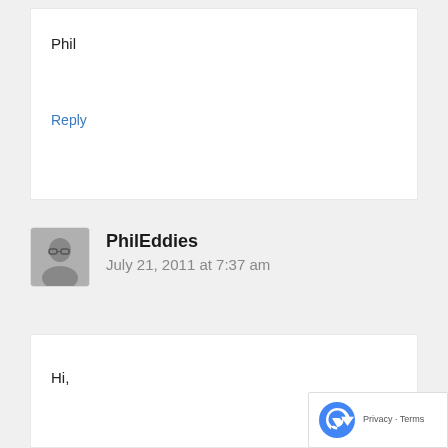Phil
Reply
PhilEddies
July 21, 2011 at 7:37 am
Hi,